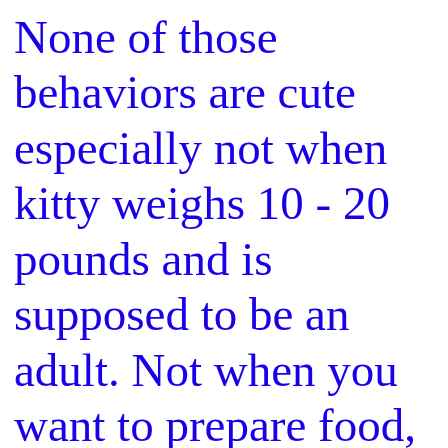None of those behaviors are cute especially not when kitty weighs 10 - 20 pounds and is supposed to be an adult. Not when you want to prepare food, or need to avail yourself of the bathroom facilities. Not when kittys' paws are